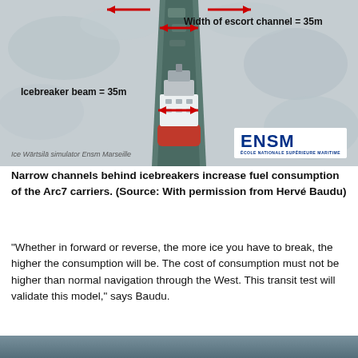[Figure (illustration): Simulation image from Ice Wärtsilä simulator Ensm Marseille showing an icebreaker vessel viewed from above, breaking a channel through ice. Red arrows indicate the width of the escort channel (35m) and the icebreaker beam (35m). ENSM logo visible at bottom right.]
Narrow channels behind icebreakers increase fuel consumption of the Arc7 carriers. (Source: With permission from Hervé Baudu)
“Whether in forward or reverse, the more ice you have to break, the higher the consumption will be. The cost of consumption must not be higher than normal navigation through the West. This transit test will validate this model,” says Baudu.